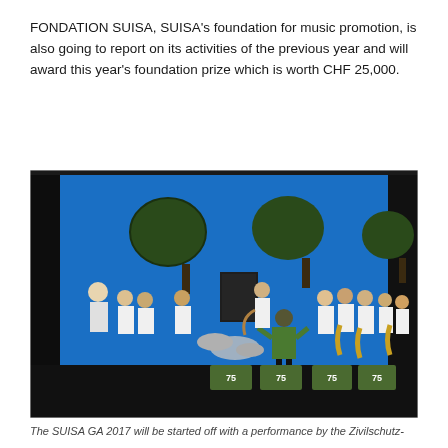FONDATION SUISA, SUISA's foundation for music promotion, is also going to report on its activities of the previous year and will award this year's foundation prize which is worth CHF 25,000.
[Figure (photo): A large jazz/big band ensemble performing on a stage with a bright blue backdrop. Musicians are dressed in white shirts, playing saxophones, trumpets, guitar, and drums. A conductor in a green jacket stands with his back to the camera. Several green music stands with '75' insignia are visible in the foreground.]
The SUISA GA 2017 will be started off with a performance by the Zivilschutz-